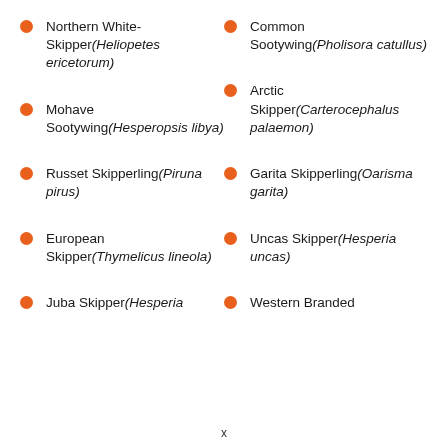Northern White-Skipper (Heliopetes ericetorum)
Common Sootywing (Pholisora catullus)
Mohave Sootywing (Hesperopsis libya)
Arctic Skipper (Carterocephalus palaemon)
Russet Skipperling (Piruna pirus)
Garita Skipperling (Oarisma garita)
European Skipper (Thymelicus lineola)
Uncas Skipper (Hesperia uncas)
Juba Skipper (Hesperia
Western Branded
x